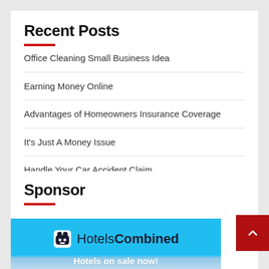Recent Posts
Office Cleaning Small Business Idea
Earning Money Online
Advantages of Homeowners Insurance Coverage
It's Just A Money Issue
Handle Your Car Accident Claim
Sponsor
[Figure (advertisement): HotelsCombined advertisement banner with blue background, bear mascot icon, Hotels Combined logo, and text 'Hotels on sale now! Discover the best deals.']